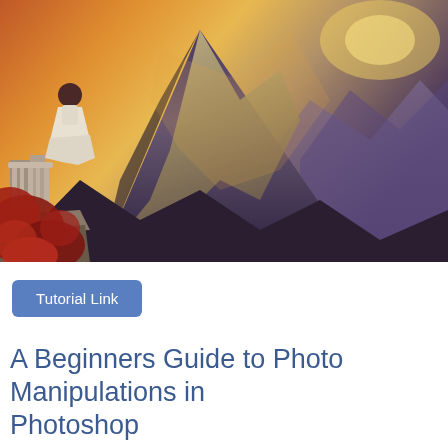[Figure (illustration): A fantasy digital photo manipulation image showing a woman in a Victorian-style white dress standing on an ornate stone balcony with decorative balusters. Red floral/foliage elements are in the lower left. The background shows dramatic snow-capped mountains lit by a warm golden sunset with purple-toned sky and distant mountain ranges.]
Tutorial Link
A Beginners Guide to Photo Manipulations in Photoshop